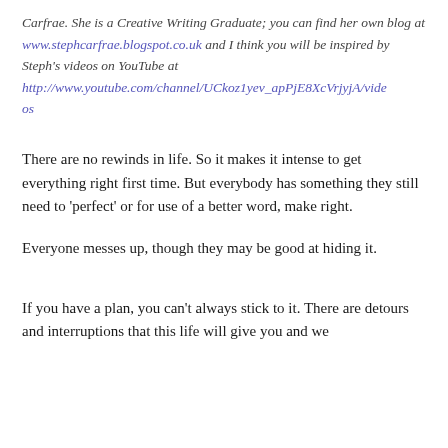Carfrae. She is a Creative Writing Graduate; you can find her own blog at www.stephcarfrae.blogspot.co.uk and I think you will be inspired by Steph's videos on YouTube at http://www.youtube.com/channel/UCkoz1yev_apPjE8XcVrjyjA/videos
There are no rewinds in life. So it makes it intense to get everything right first time. But everybody has something they still need to 'perfect' or for use of a better word, make right.
Everyone messes up, though they may be good at hiding it.
If you have a plan, you can't always stick to it. There are detours and interruptions that this life will give you and we